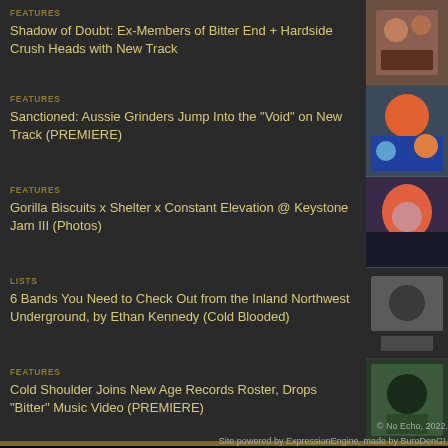FEATURES
Shadow of Doubt: Ex-Members of Bitter End + Hardside Crush Heads with New Track
FEATURES
Sanctioned: Aussie Grinders Jump Into the "Void" on New Track (PREMIERE)
FEATURES
Gorilla Biscuits x Shelter x Constant Elevation @ Keystone Jam III (Photos)
LISTS
6 Bands You Need to Check Out from the Inland Northwest Underground, by Ethan Kennedy (Cold Blooded)
FEATURES
Cold Shoulder Joins New Age Records Roster, Drops "Bitter" Music Video (PREMIERE)
© No Echo, 2022.
Site powered by ExpressionEngine, made by BuroDenG!.